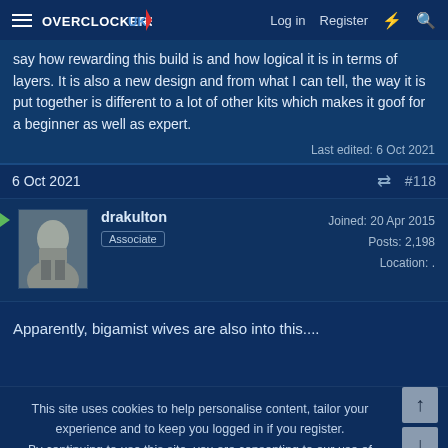OVERCLOCKERS UK | Log in | Register
say how rewarding this build is and how logical it is in terms of layers. It is also a new design and from what I can tell, the way it is put together is different to a lot of other kits which makes it goof for a beginner as well as expert.
Last edited: 6 Oct 2021
6 Oct 2021  #118
drakulton
Associate
Joined: 20 Apr 2015
Posts: 2,198
Location: .
Apparently, bigamist wives are also into this....
This site uses cookies to help personalise content, tailor your experience and to keep you logged in if you register.
By continuing to use this site, you are consenting to our use of cookies.
✓ Accept   Learn more...